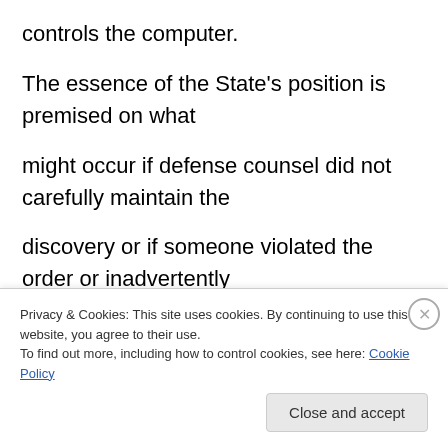controls the computer.
The essence of the State's position is premised on what might occur if defense counsel did not carefully maintain the discovery or if someone violated the order or inadvertently failed to appropriately care for the discovery materials.
Hypothetical examples of misdeeds or human error
Privacy & Cookies: This site uses cookies. By continuing to use this website, you agree to their use.
To find out more, including how to control cookies, see here: Cookie Policy
Close and accept